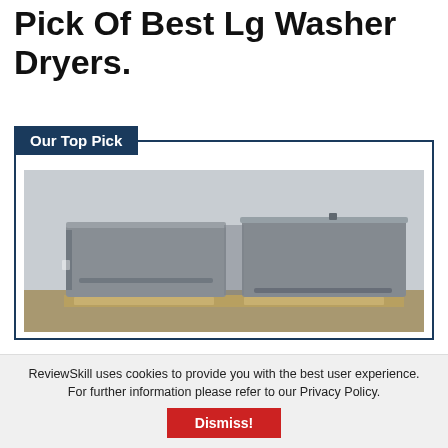Pick Of Best Lg Washer Dryers.
Our Top Pick
[Figure (photo): Two LG washer dryer pedestals placed side by side on a wooden pallet against a light gray wall]
ReviewSkill uses cookies to provide you with the best user experience. For further information please refer to our Privacy Policy.
Dismiss!